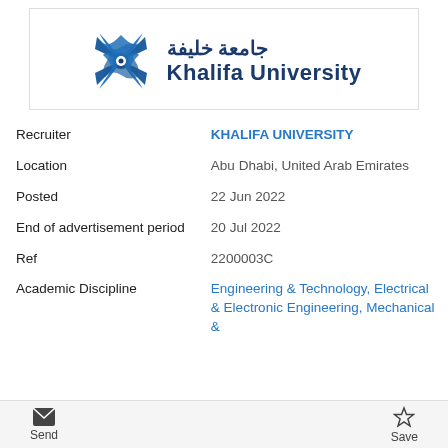[Figure (logo): Khalifa University logo with Arabic text and English text 'Khalifa University']
| Field | Value |
| --- | --- |
| Recruiter | KHALIFA UNIVERSITY |
| Location | Abu Dhabi, United Arab Emirates |
| Posted | 22 Jun 2022 |
| End of advertisement period | 20 Jul 2022 |
| Ref | 2200003C |
| Academic Discipline | Engineering & Technology, Electrical & Electronic Engineering, Mechanical & |
Send   Save